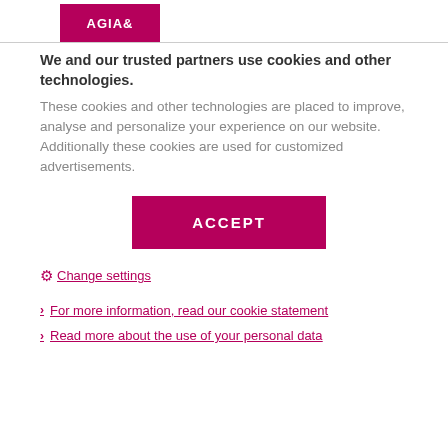[Figure (logo): AGIA logo in magenta/crimson rectangular block]
We and our trusted partners use cookies and other technologies.
These cookies and other technologies are placed to improve, analyse and personalize your experience on our website. Additionally these cookies are used for customized advertisements.
ACCEPT
⚙ Change settings
For more information, read our cookie statement
Read more about the use of your personal data